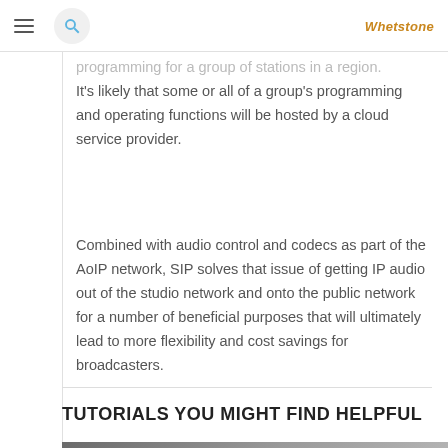Whetstone
programming for a group of stations in a region. It's likely that some or all of a group's programming and operating functions will be hosted by a cloud service provider.
Combined with audio control and codecs as part of the AoIP network, SIP solves that issue of getting IP audio out of the studio network and onto the public network for a number of beneficial purposes that will ultimately lead to more flexibility and cost savings for broadcasters.
TUTORIALS YOU MIGHT FIND HELPFUL
[Figure (screenshot): Video thumbnail showing a YouTube-style embedded video player with avatar, title text, and share/watch icons]